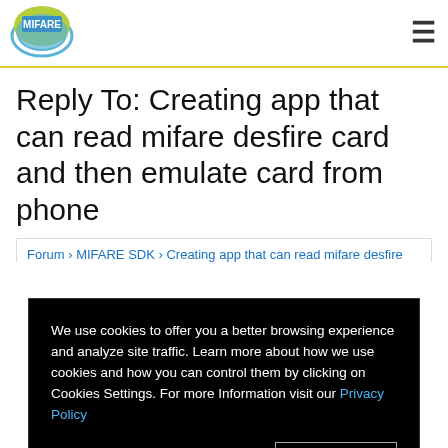MIFARE
Reply To: Creating app that can read mifare desfire card and then emulate card from phone
Forum › MIFARE SDK › Creating app that can read mifare desfire
[Figure (screenshot): Cookie consent overlay on dark background with text: We use cookies to offer you a better browsing experience and analyze site traffic. Learn more about how we use cookies and how you can control them by clicking on Cookies Settings. For more Information visit our Privacy Policy. Buttons: Cookies Settings and Allow All.]
I can hand-over special questions to one of my colleagues if you want. You can write to our team